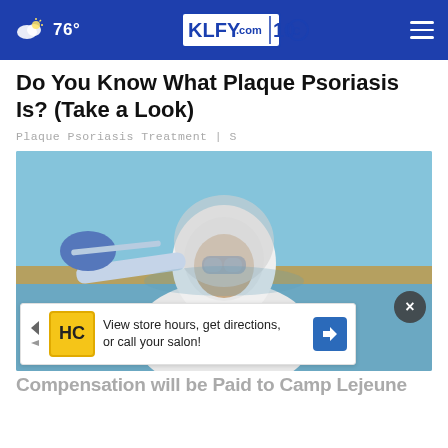76° KLFY.com 10 — navigation bar with weather and logo
Do You Know What Plaque Psoriasis Is? (Take a Look)
Plaque Psoriasis Treatment | S
[Figure (photo): A person in full white protective suit, hairnet, and blue gloves, pipetting liquid into a glass beaker outdoors near a body of water]
[Figure (screenshot): Advertisement overlay: HC logo icon in yellow square, text 'View store hours, get directions, or call your salon!' with blue navigation arrow icon on the right]
Compensation will be Paid to Camp Lejeune